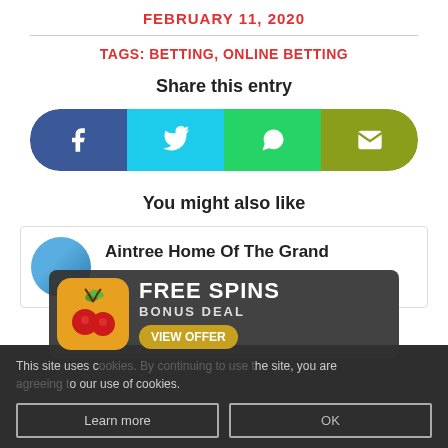FEBRUARY 11, 2020
TAGS: BETTING, ONLINE BETTING
Share this entry
[Figure (infographic): Social share buttons: Facebook (blue), Twitter (cyan), WhatsApp (green), Email (olive/yellow-green)]
You might also like
Aintree Home Of The Grand
This site uses cookies. By continuing to use the site, you are agreeing to our use of cookies.
[Figure (infographic): FREE SPINS BONUS DEAL advertisement banner with cherry slot icon and VIEW OFFER button]
Learn more
OK